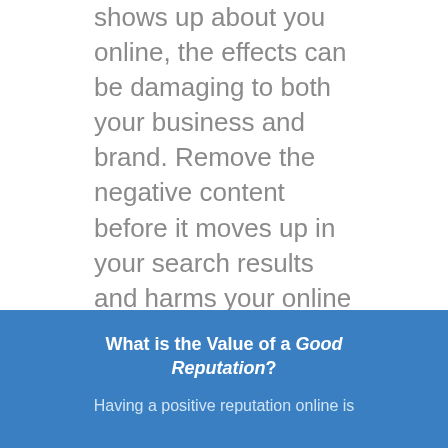shows up about you online, the effects can be damaging to both your business and brand. Remove the negative content before it moves up in your search results and harms your online image.
What is the Value of a Good Reputation?
Having a positive reputation online is